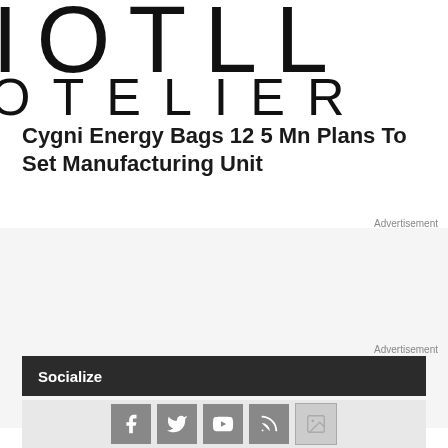[Figure (logo): Partial logo showing letters 'IOTLL' on top row and 'OTELIER' on bottom row in large thin black uppercase letters on white background]
Cygni Energy Bags 12 5 Mn Plans To Set Manufacturing Unit
Advertisement
Advertisement
Socialize
[Figure (infographic): Social media icons row: Facebook, Twitter, YouTube, RSS feed, and an image icon on grey background]